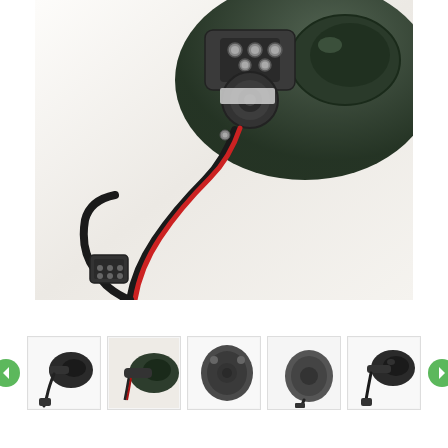[Figure (photo): Close-up photo of the back/mounting side of a dark green/black car side mirror, showing bolts, wiring harness with red and black wires, and an electrical connector, placed on a white fur-like surface.]
[Figure (photo): Thumbnail 1: Car side mirror with wiring, front view, dark color, on white background.]
[Figure (photo): Thumbnail 2: Car side mirror, angled view, dark color, on white fur surface.]
[Figure (photo): Thumbnail 3: Back side of car side mirror housing, dark gray, on white background.]
[Figure (photo): Thumbnail 4: Car side mirror, side view showing back housing, dark gray color.]
[Figure (photo): Thumbnail 5: Car side mirror with wiring, side/front view, dark color, on white background.]